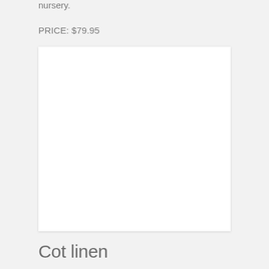nursery.
PRICE: $79.95
[Figure (photo): White blank product image placeholder box with light shadow]
Cot linen